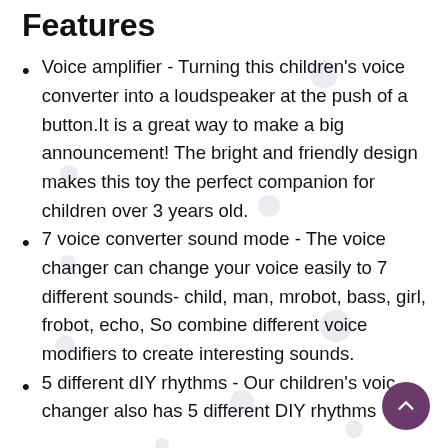Features
Voice amplifier - Turning this children's voice converter into a loudspeaker at the push of a button.It is a great way to make a big announcement! The bright and friendly design makes this toy the perfect companion for children over 3 years old.
7 voice converter sound mode - The voice changer can change your voice easily to 7 different sounds- child, man, mrobot, bass, girl, frobot, echo, So combine different voice modifiers to create interesting sounds.
5 different dIY rhythms - Our children's voice changer also has 5 different DIY rhythms